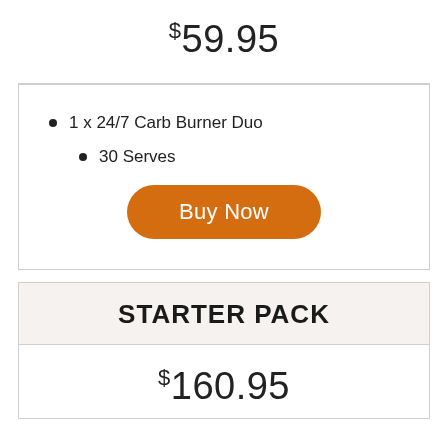$59.95
1 x 24/7 Carb Burner Duo
30 Serves
Buy Now
STARTER PACK
$160.95